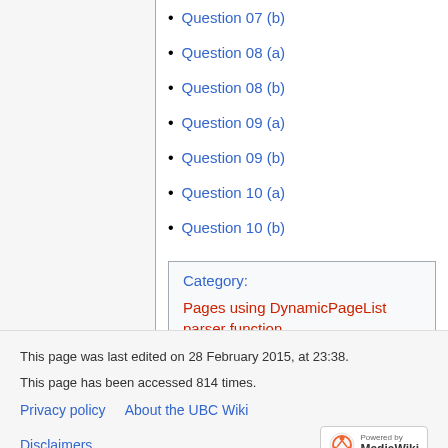Question 07 (b)
Question 08 (a)
Question 08 (b)
Question 09 (a)
Question 09 (b)
Question 10 (a)
Question 10 (b)
Category: Pages using DynamicPageList parser function
This page was last edited on 28 February 2015, at 23:38. This page has been accessed 814 times. Privacy policy  About the UBC Wiki  Disclaimers